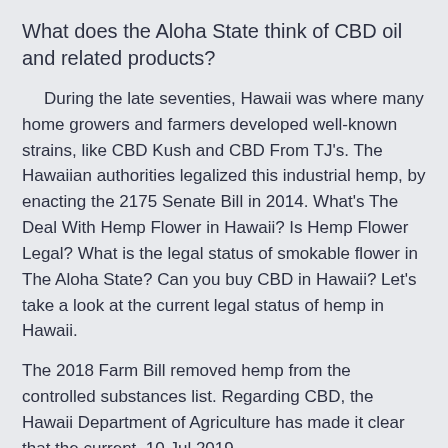What does the Aloha State think of CBD oil and related products?
During the late seventies, Hawaii was where many home growers and farmers developed well-known strains, like CBD Kush and CBD From TJ's. The Hawaiian authorities legalized this industrial hemp, by enacting the 2175 Senate Bill in 2014. What's The Deal With Hemp Flower in Hawaii? Is Hemp Flower Legal? What is the legal status of smokable flower in The Aloha State? Can you buy CBD in Hawaii? Let's take a look at the current legal status of hemp in Hawaii.
The 2018 Farm Bill removed hemp from the controlled substances list. Regarding CBD, the Hawaii Department of Agriculture has made it clear that the current  10 Jul 2019...